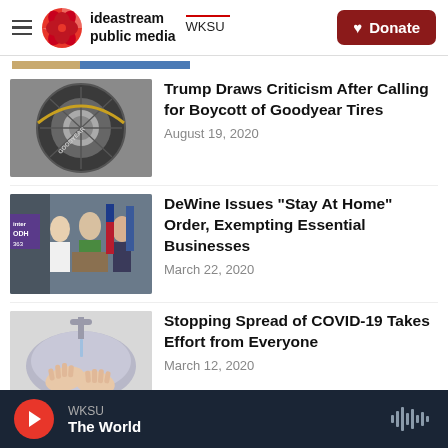ideastream public media | WKSU | Donate
[Figure (photo): Thumbnail image of Goodyear tire]
Trump Draws Criticism After Calling for Boycott of Goodyear Tires
August 19, 2020
[Figure (photo): Thumbnail image of DeWine at podium with officials]
DeWine Issues "Stay At Home" Order, Exempting Essential Businesses
March 22, 2020
[Figure (photo): Thumbnail image of person washing hands at sink]
Stopping Spread of COVID-19 Takes Effort from Everyone
March 12, 2020
WKSU | The World